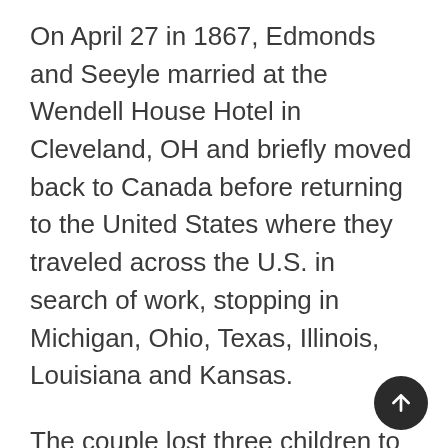On April 27 in 1867, Edmonds and Seeyle married at the Wendell House Hotel in Cleveland, OH and briefly moved back to Canada before returning to the United States where they traveled across the U.S. in search of work, stopping in Michigan, Ohio, Texas, Illinois, Louisiana and Kansas.
The couple lost three children to illness but had two adopted two boys from an orphanage Emma ran in Louisiana in the late 1870s.
Still upset about being branded a deserter and invited that he has a right to elicit from